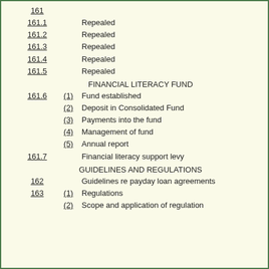161
161.1    Repealed
161.2    Repealed
161.3    Repealed
161.4    Repealed
161.5    Repealed
FINANCIAL LITERACY FUND
161.6  (1)  Fund established
(2)  Deposit in Consolidated Fund
(3)  Payments into the fund
(4)  Management of fund
(5)  Annual report
161.7       Financial literacy support levy
GUIDELINES AND REGULATIONS
162         Guidelines re payday loan agreements
163  (1)    Regulations
(2)    Scope and application of regulation